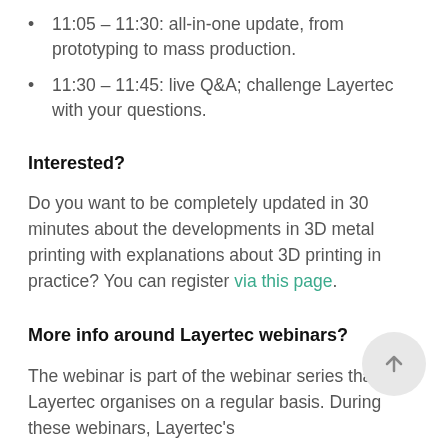11:05 – 11:30: all-in-one update, from prototyping to mass production.
11:30 – 11:45: live Q&A; challenge Layertec with your questions.
Interested?
Do you want to be completely updated in 30 minutes about the developments in 3D metal printing with explanations about 3D printing in practice? You can register via this page.
More info around Layertec webinars?
The webinar is part of the webinar series that Layertec organises on a regular basis. During these webinars, Layertec's